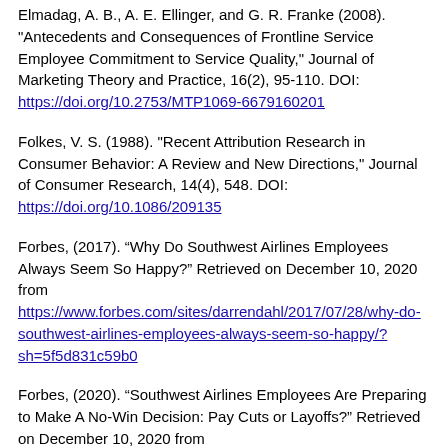Elmadag, A. B., A. E. Ellinger, and G. R. Franke (2008). "Antecedents and Consequences of Frontline Service Employee Commitment to Service Quality," Journal of Marketing Theory and Practice, 16(2), 95-110. DOI: https://doi.org/10.2753/MTP1069-6679160201
Folkes, V. S. (1988). "Recent Attribution Research in Consumer Behavior: A Review and New Directions," Journal of Consumer Research, 14(4), 548. DOI: https://doi.org/10.1086/209135
Forbes, (2017). “Why Do Southwest Airlines Employees Always Seem So Happy?” Retrieved on December 10, 2020 from https://www.forbes.com/sites/darrendahl/2017/07/28/why-do-southwest-airlines-employees-always-seem-so-happy/?sh=5f5d831c59b0
Forbes, (2020). “Southwest Airlines Employees Are Preparing to Make A No-Win Decision: Pay Cuts or Layoffs?” Retrieved on December 10, 2020 from